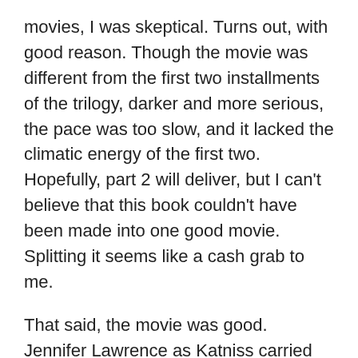movies, I was skeptical. Turns out, with good reason. Though the movie was different from the first two installments of the trilogy, darker and more serious, the pace was too slow, and it lacked the climatic energy of the first two. Hopefully, part 2 will deliver, but I can't believe that this book couldn't have been made into one good movie. Splitting it seems like a cash grab to me.
That said, the movie was good. Jennifer Lawrence as Katniss carried the film, with expanded roles for supporting actors Donald Sutherland and Philip Seymour Hoffman constantly cranking up the pressure on her character. Julianne Moore did an adequate job in the “Mon Mothma” role, Liam Hemsworth was forgettable as Katniss's love interest Gale, and Woody Harrelson had a sadly small part.